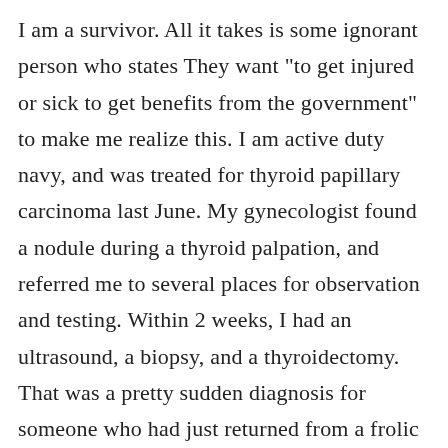I am a survivor. All it takes is some ignorant person who states They want "to get injured or sick to get benefits from the government" to make me realize this. I am active duty navy, and was treated for thyroid papillary carcinoma last June. My gynecologist found a nodule during a thyroid palpation, and referred me to several places for observation and testing. Within 2 weeks, I had an ultrasound, a biopsy, and a thyroidectomy. That was a pretty sudden diagnosis for someone who had just returned from a frolic in northeastern China. Stranger things have happened.I had trouble